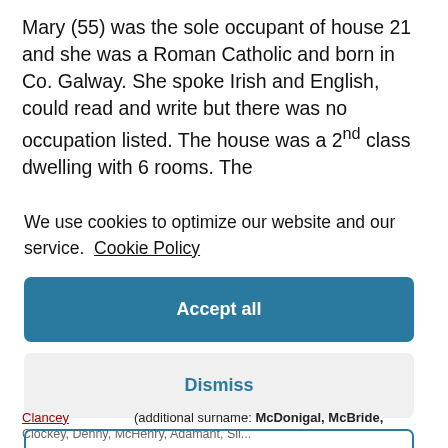Mary (55) was the sole occupant of house 21 and she was a Roman Catholic and born in Co. Galway. She spoke Irish and English, could read and write but there was no occupation listed. The house was a 2nd class dwelling with 6 rooms. The
We use cookies to optimize our website and our service. Cookie Policy
Accept all
Dismiss
Preferences
Clancey (additional surname: McDonigal, McBride, Clockey, Denny, McHenry, Adamant, Sli...